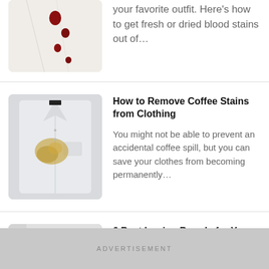[Figure (photo): White shirt with red blood stains (partial view, top of page)]
your favorite outfit. Here's how to get fresh or dried blood stains out of…
[Figure (photo): White dress shirt with a yellow-brown coffee stain on the chest]
How to Remove Coffee Stains from Clothing
You might not be able to prevent an accidental coffee spill, but you can save your clothes from becoming permanently…
[Figure (photo): An ironing board setup in a room, partially visible]
6 Best Ironing Boards for Your Wrinkled Clothes
Look sharp, crisp, and
ADVERTISEMENT